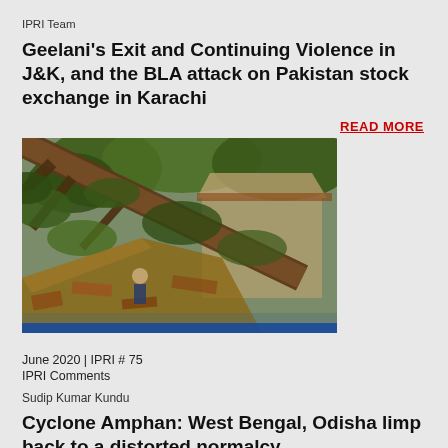IPRI Team
Geelani's Exit and Continuing Violence in J&K, and the BLA attack on Pakistan stock exchange in Karachi
READ MORE
[Figure (photo): A fallen tree on a collapsed building roof with a person visible in the debris, likely cyclone damage]
June 2020 | IPRI # 75
IPRI Comments
Sudip Kumar Kundu
Cyclone Amphan: West Bengal, Odisha limp back to a distorted normalcy